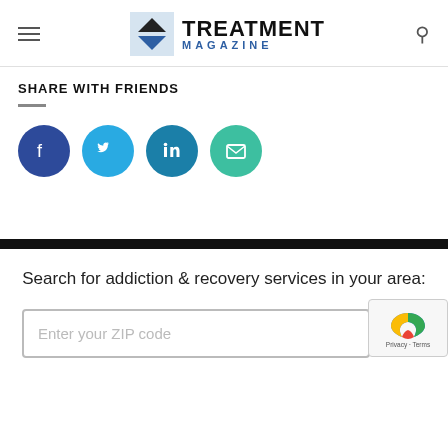Treatment Magazine
SHARE WITH FRIENDS
[Figure (infographic): Four social sharing buttons: Facebook (dark blue), Twitter (light blue), LinkedIn (medium blue), Email (teal/green)]
Search for addiction & recovery services in your area:
Enter your ZIP code